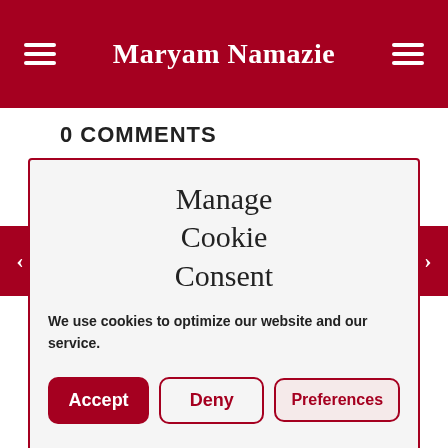Maryam Namazie
0 COMMENTS
[Figure (screenshot): Cookie consent dialog box with title 'Manage Cookie Consent', body text 'We use cookies to optimize our website and our service.', and three buttons: Accept, Deny, Preferences]
a letter from Yousef discussing his situation, please visit: Yousef Muhammad Ali trial date set for 14 September [...]